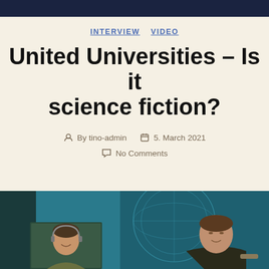INTERVIEW  VIDEO
United Universities – Is it science fiction?
By tino-admin   5. March 2021   No Comments
[Figure (photo): Two men in a studio/video call setting with a globe-like graphic in the background on a blue backdrop. One man appears on a screen (video call) and another sits in the studio.]